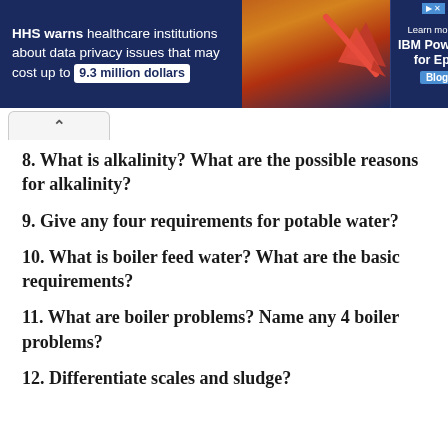[Figure (other): Advertisement banner: HHS warns healthcare institutions about data privacy issues that may cost up to 9.3 million dollars. Learn more at IBM Power10 for Epic Blog.]
8. What is alkalinity? What are the possible reasons for alkalinity?
9. Give any four requirements for potable water?
10. What is boiler feed water? What are the basic requirements?
11. What are boiler problems? Name any 4 boiler problems?
12. Differentiate scales and sludge?